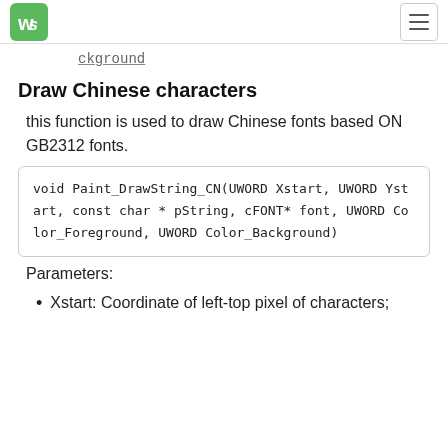WS logo and navigation
ckground
Draw Chinese characters
this function is used to draw Chinese fonts based ON GB2312 fonts.
void Paint_DrawString_CN(UWORD Xstart, UWORD Ystart, const char * pString, cFONT* font, UWORD Color_Foreground, UWORD Color_Background)
Parameters:
Xstart: Coordinate of left-top pixel of characters;